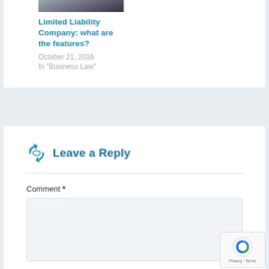[Figure (photo): Partial view of a photo showing hands/desk scene, cropped at top of page]
Limited Liability Company: what are the features?
October 21, 2016
In "Business Law"
Leave a Reply
Comment *
[Figure (screenshot): reCAPTCHA badge with logo and Privacy · Terms text]